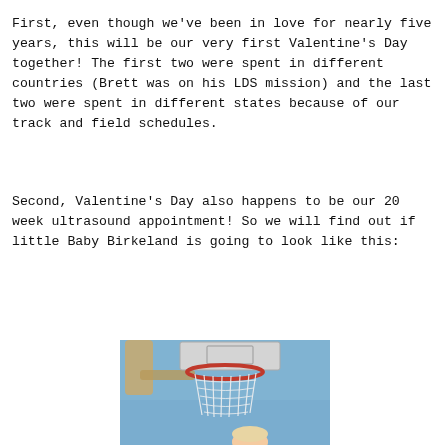First, even though we've been in love for nearly five years, this will be our very first Valentine's Day together! The first two were spent in different countries (Brett was on his LDS mission) and the last two were spent in different states because of our track and field schedules.
Second, Valentine's Day also happens to be our 20 week ultrasound appointment! So we will find out if little Baby Birkeland is going to look like this:
[Figure (photo): Photo of a basketball hoop viewed from below, with a red rim and white net against a blue sky background. A person's head is partially visible at the bottom of the frame.]